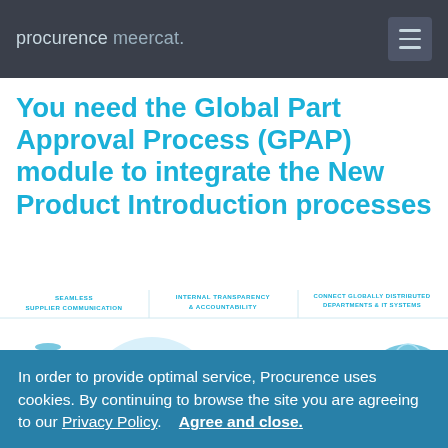procurence meercat.
You need the Global Part Approval Process (GPAP) module to integrate the New Product Introduction processes
[Figure (infographic): Infographic showing GPAP process with three columns: Seamless Supplier Communication, Internal Transparency & Accountability, Connect Globally Distributed Departments & IT Systems. Features icons of suppliers, GPAP speech bubble, Engineering + Purchasing + Supplier Quality text, and a globe with location/department icons.]
In order to provide optimal service, Procurence uses cookies. By continuing to browse the site you are agreeing to our Privacy Policy.  Agree and close.